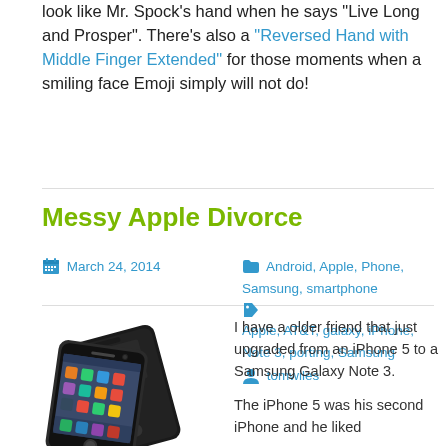look like Mr. Spock's hand when he says "Live Long and Prosper". There's also a "Reversed Hand with Middle Finger Extended" for those moments when a smiling face Emoji simply will not do!
Messy Apple Divorce
March 24, 2014   Android, Apple, Phone, Samsung, smartphone   Apple, AT&T, galaxy, iPhone, Note 3, porting, Samsung   tomwiles
[Figure (photo): Two smartphones stacked: an iPhone 5 (front, showing home screen with app icons) and a Samsung Galaxy Note 3 (back, dark/black), overlapping each other at angles.]
I have a older friend that just upgraded from an iPhone 5 to a Samsung Galaxy Note 3.
The iPhone 5 was his second iPhone and he liked